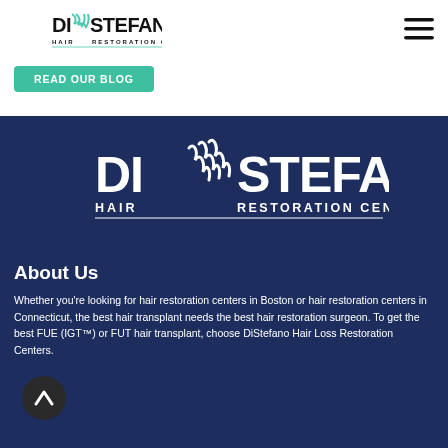[Figure (logo): DiStefano Hair Restoration Center logo, dark text on white background, top-left corner]
[Figure (other): Hamburger/menu icon, three horizontal bars, top-right corner]
Read Our Blog
[Figure (logo): DiStefano Hair Restoration Center logo, white on dark navy background, large centered]
About Us
Whether you're looking for hair restoration centers in Boston or hair restoration centers in Connecticut, the best hair transplant needs the best hair restoration surgeon. To get the best FUE (IGT™) or FUT hair transplant, choose DiStefano Hair Loss Restoration Centers.